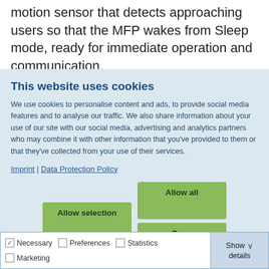motion sensor that detects approaching users so that the MFP wakes from Sleep mode, ready for immediate operation and communication.
This website uses cookies
We use cookies to personalise content and ads, to provide social media features and to analyse our traffic. We also share information about your use of our site with our social media, advertising and analytics partners who may combine it with other information that you've provided to them or that they've collected from your use of their services.
Imprint | Data Protection Policy
[Figure (screenshot): Cookie consent dialog with Allow selection, Allow all, and Deny buttons]
Necessary  Preferences  Statistics  Marketing  Show details